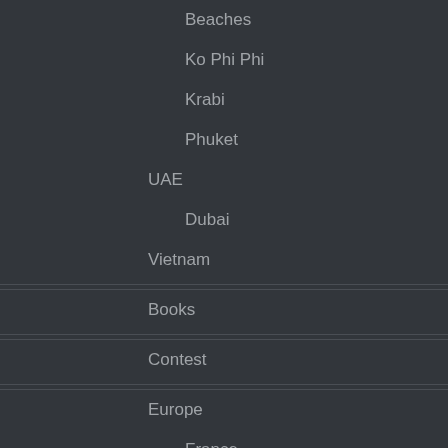Beaches
Ko Phi Phi
Krabi
Phuket
UAE
Dubai
Vietnam
Books
Contest
Europe
France
Germany
Italy